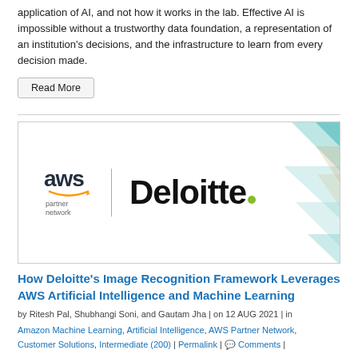application of AI, and not how it works in the lab. Effective AI is impossible without a trustworthy data foundation, a representation of an institution's decisions, and the infrastructure to learn from every decision made.
Read More
[Figure (logo): AWS Partner Network and Deloitte logos side by side with geometric teal/gold decorative shapes on the right]
How Deloitte's Image Recognition Framework Leverages AWS Artificial Intelligence and Machine Learning
by Ritesh Pal, Shubhangi Soni, and Gautam Jha | on 12 AUG 2021 | in Amazon Machine Learning, Artificial Intelligence, AWS Partner Network, Customer Solutions, Intermediate (200) | Permalink | Comments |